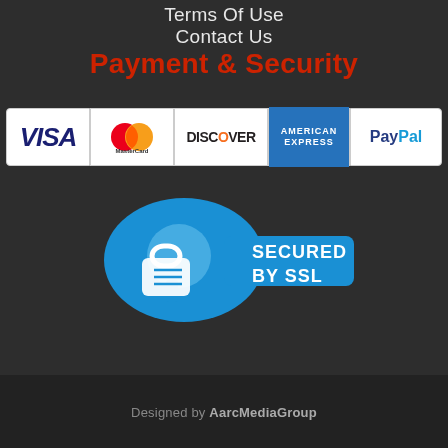Terms Of Use
Contact Us
Payment & Security
[Figure (logo): Payment method icons: VISA, MasterCard, Discover, American Express, PayPal]
[Figure (infographic): Secured by SSL badge — blue key shape with padlock icon and text SECURED BY SSL]
Designed by AarcMediaGroup